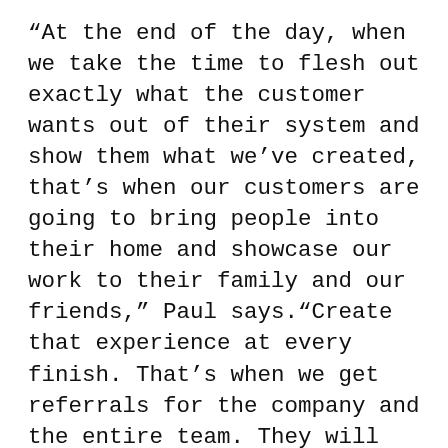“At the end of the day, when we take the time to flesh out exactly what the customer wants out of their system and show them what we’ve created, that’s when our customers are going to bring people into their home and showcase our work to their family and our friends,” Paul says.“Create that experience at every finish. That’s when we get referrals for the company and the entire team. They will share how AVDG went the extra mile for them.”
Anybody can come in and simply do the job, Paul says, but what sets